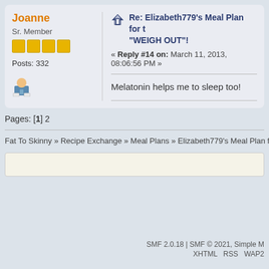Joanne
Sr. Member
Posts: 332
Re: Elizabeth779's Meal Plan for the "WEIGH OUT"!
« Reply #14 on: March 11, 2013, 08:06:56 PM »
Melatonin helps me to sleep too!
Pages: [1] 2
Fat To Skinny » Recipe Exchange » Meal Plans » Elizabeth779's Meal Plan for the "WEI...
SMF 2.0.18 | SMF © 2021, Simple M...
XHTML   RSS   WAP2